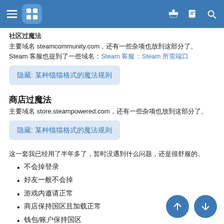Steam 过魔法 — 社区页面
主要域名 steamcommunity.com，还有一些杂项也放到这部分了。Steam 客服也提到了一些域名：Steam 客服 :: Steam 所需端口
隐藏: 某种猫猫格式的魔法规则
商店过魔法
主要域名 store.steampowered.com，还有一些杂项也放到这部分了。
隐藏: 某种猫猫格式的魔法规则
这一套我已经用了半年多了，暂时没遇到什么问题，还是很舒服的。
不会掉登录
好友一般不会掉
游戏内邀请正常
商店保持国区且加载正常
钱包/账户保持国区
下载不通过魔法
社区访问正常